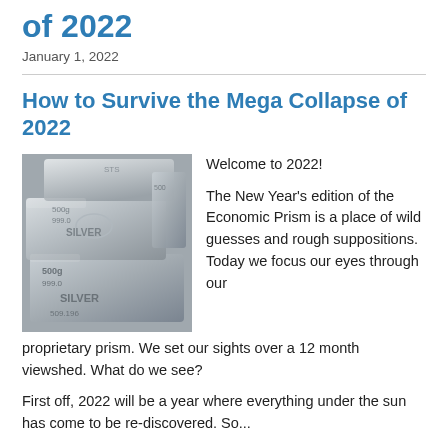of 2022
January 1, 2022
How to Survive the Mega Collapse of 2022
[Figure (photo): Stacked silver bars with markings showing 500g, 999.0, SILVER, 509.196]
Welcome to 2022!

The New Year's edition of the Economic Prism is a place of wild guesses and rough suppositions.  Today we focus our eyes through our proprietary prism.  We set our sights over a 12 month viewshed.  What do we see?
First off, 2022 will be a year where everything under the sun has come to be re-discovered. So...